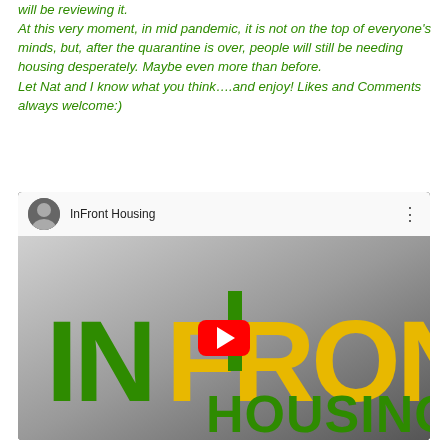will be reviewing it.
At this very moment, in mid pandemic, it is not on the top of everyone's minds, but, after the quarantine is over, people will still be needing housing desperately. Maybe even more than before.
Let Nat and I know what you think….and enjoy! Likes and Comments always welcome:)
[Figure (screenshot): YouTube video embed thumbnail for InFront Housing channel, showing the InFront Housing logo with green and yellow/gold letters on a grey gradient background, with a red YouTube play button in the center.]